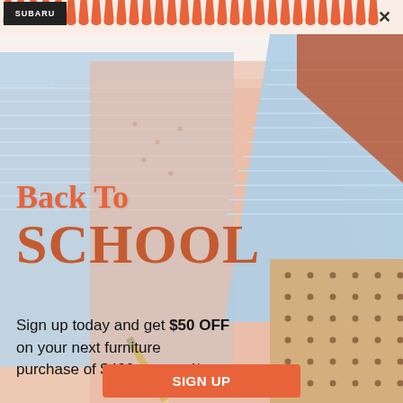[Figure (illustration): Back to School promotional popup/advertisement. Top has a spiral notebook binding strip with orange teeth along the top. Background shows overlapping notebook/stationery items: light blue lined paper, peach/pink paper, tan dotted paper, and terracotta/brown section. A pencil is partially visible.]
Back To SCHOOL
Sign up today and get $50 OFF on your next furniture purchase of $499 or more!*